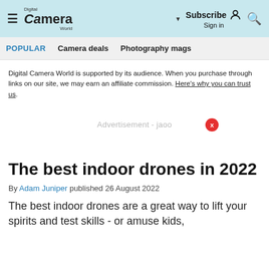Digital Camera World — Subscribe | Sign in | Search
POPULAR   Camera deals   Photography mags
Digital Camera World is supported by its audience. When you purchase through links on our site, we may earn an affiliate commission. Here's why you can trust us.
[Figure (other): Advertisement placeholder with close (X) button]
The best indoor drones in 2022
By Adam Juniper published 26 August 2022
The best indoor drones are a great way to lift your spirits and test skills - or amuse kids,